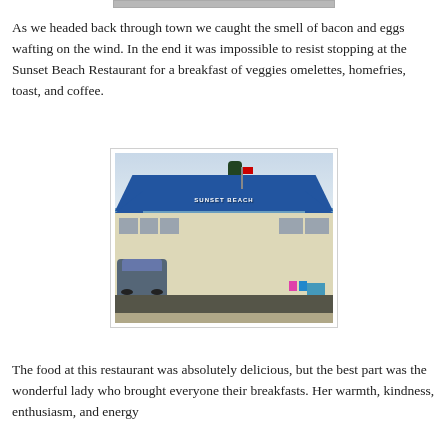[Figure (photo): Partial view of a photo at the top of the page (cropped, showing only the bottom edge)]
As we headed back through town we caught the smell of bacon and eggs wafting on the wind. In the end it was impossible to resist stopping at the Sunset Beach Restaurant for a breakfast of veggies omelettes, homefries, toast, and coffee.
[Figure (photo): Exterior photo of the Sunset Beach Restaurant, a small building with a blue metal roof, beige siding, the sign 'Sunset Beach' visible, a Canadian flag, colorful Adirondack chairs (pink and blue) in front, a dark SUV parked on the left, and a blue planter on the right.]
The food at this restaurant was absolutely delicious, but the best part was the wonderful lady who brought everyone their breakfasts. Her warmth, kindness, enthusiasm, and energy